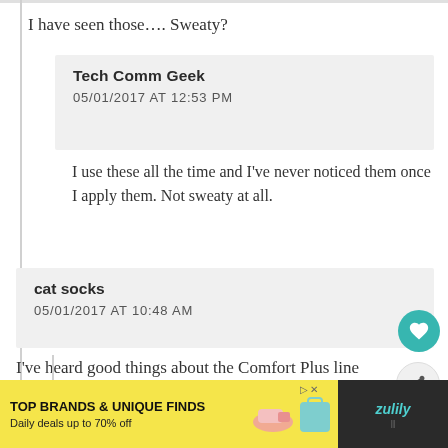I have seen those…. Sweaty?
Tech Comm Geek
05/01/2017 AT 12:53 PM
I use these all the time and I've never noticed them once I apply them. Not sweaty at all.
cat socks
05/01/2017 AT 10:48 AM
I've heard good things about the Comfort Plus line from Payless. I think it's the Karmen that has gotten a lot of good reviews.
Shoe problems
05/01/2017 AT 11:18 AM
I totally agree they are amazingly comfortable for
TOP BRANDS & UNIQUE FINDS
Daily deals up to 70% off